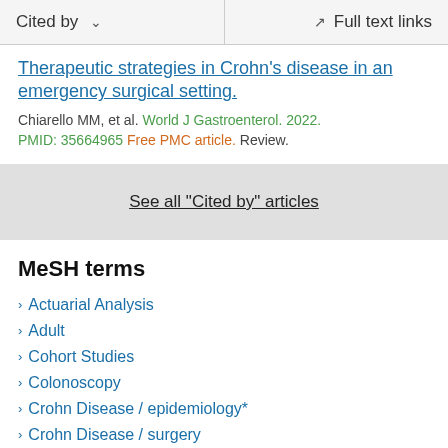Cited by  ∨    Full text links
Therapeutic strategies in Crohn's disease in an emergency surgical setting.
Chiarello MM, et al. World J Gastroenterol. 2022.
PMID: 35664965 Free PMC article. Review.
See all "Cited by" articles
MeSH terms
Actuarial Analysis
Adult
Cohort Studies
Colonoscopy
Crohn Disease / epidemiology*
Crohn Disease / surgery